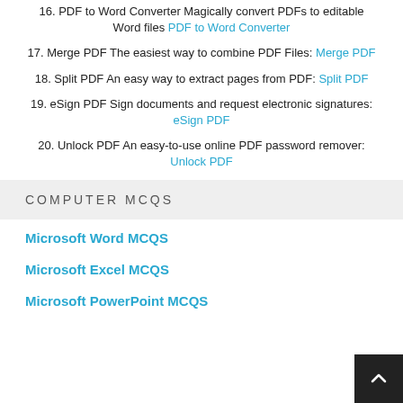16. PDF to Word Converter Magically convert PDFs to editable Word files PDF to Word Converter
17. Merge PDF The easiest way to combine PDF Files: Merge PDF
18. Split PDF An easy way to extract pages from PDF: Split PDF
19. eSign PDF Sign documents and request electronic signatures: eSign PDF
20. Unlock PDF An easy-to-use online PDF password remover: Unlock PDF
COMPUTER MCQS
Microsoft Word MCQS
Microsoft Excel MCQS
Microsoft PowerPoint MCQS